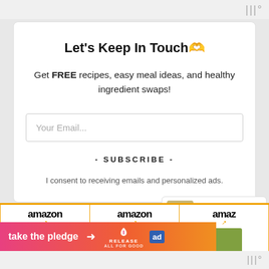|||°
Let's Keep In Touch🫶
Get FREE recipes, easy meal ideas, and healthy ingredient swaps!
Your Email...
- SUBSCRIBE -
I consent to receiving emails and personalized ads.
[Figure (screenshot): What's Next panel showing Flaxseed Porridge thumbnail]
[Figure (infographic): Amazon product grid with three Amazon-branded product cells showing jars and a black container]
[Figure (infographic): Take the pledge ad banner in orange-pink gradient with Release logo and ad badge]
|||°